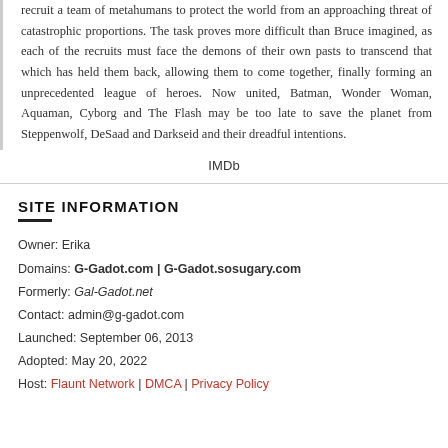recruit a team of metahumans to protect the world from an approaching threat of catastrophic proportions. The task proves more difficult than Bruce imagined, as each of the recruits must face the demons of their own pasts to transcend that which has held them back, allowing them to come together, finally forming an unprecedented league of heroes. Now united, Batman, Wonder Woman, Aquaman, Cyborg and The Flash may be too late to save the planet from Steppenwolf, DeSaad and Darkseid and their dreadful intentions.
IMDb
SITE INFORMATION
Owner: Erika
Domains: G-Gadot.com | G-Gadot.sosugary.com
Formerly: Gal-Gadot.net
Contact: admin@g-gadot.com
Launched: September 06, 2013
Adopted: May 20, 2022
Host: Flaunt Network | DMCA | Privacy Policy